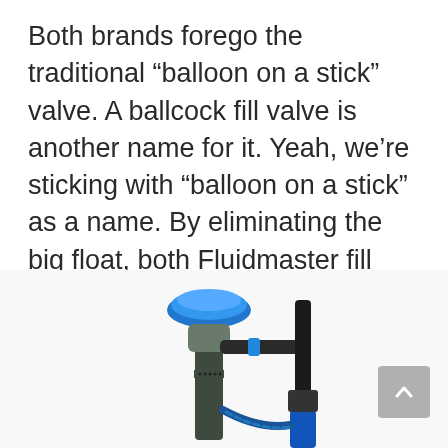Both brands forego the traditional “balloon on a stick” valve. A ballcock fill valve is another name for it. Yeah, we’re sticking with “balloon on a stick” as a name. By eliminating the big float, both Fluidmaster fill valve and Korky fill valve conserve room inside the tank. If you need to adjust the flapper or chain, this makes it easy to get to them.
[Figure (photo): Photo of a Fluidmaster toilet fill valve with a blue cap on top and a Korky fill valve (blue) beside it, both showing the compact design without the traditional balloon float, photographed against a white background.]